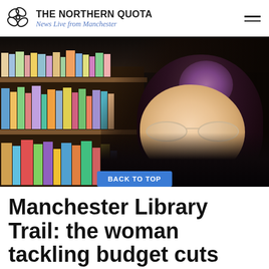THE NORTHERN QUOTA — News Live from Manchester
[Figure (photo): A woman with purple-highlighted dark hair and glasses smiling in front of a bookshelf filled with colorful children's books in a library setting.]
Manchester Library Trail: the woman tackling budget cuts and closures with new library scheme